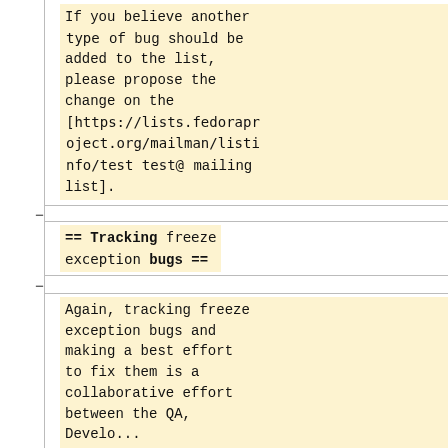If you believe another type of bug should be added to the list, please propose the change on the [https://lists.fedoraproject.org/mailman/listinfo/test test@ mailing list].
== Tracking freeze exception bugs ==
Again, tracking freeze exception bugs and making a best effort to fix them is a collaborative effort between the QA, Developers, and